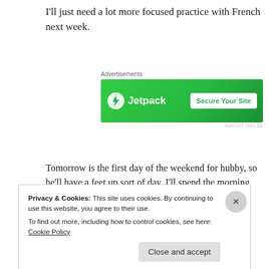I'll just need a lot more focused practice with French next week.
[Figure (other): Jetpack advertisement banner with green background, Jetpack logo and lightning bolt icon on left, white 'Secure Your Site' button on right]
Tomorrow is the first day of the weekend for hubby, so he'll have a feet up sort of day. I'll spend the morning Puddling and the afternoon WoW'ing. I'm not really looking forward to the WoW'ing. I need a Paladin!!! You know who you are.
Privacy & Cookies: This site uses cookies. By continuing to use this website, you agree to their use.
To find out more, including how to control cookies, see here: Cookie Policy
Close and accept